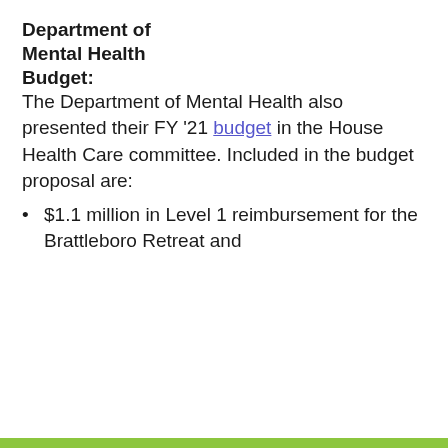Department of Mental Health Budget:
The Department of Mental Health also presented their FY '21 budget in the House Health Care committee. Included in the budget proposal are:
$1.1 million in Level 1 reimbursement for the Brattleboro Retreat and